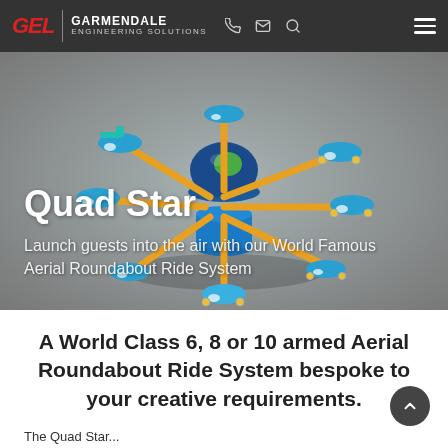GEL | GARMENDALE ENGINEERING SOLUTIONS
[Figure (illustration): 3D render of the Quad Star aerial roundabout ride system showing a central hub with yellow arms extending outward, each ending in blue passenger gondola cars. The central hub features a blue dome with green accents on a blue cylindrical base.]
Quad Star
Launch guests into the air with our World Famous Aerial Roundabout Ride System
A World Class 6, 8 or 10 armed Aerial Roundabout Ride System bespoke to your creative requirements.
The Quad Star...